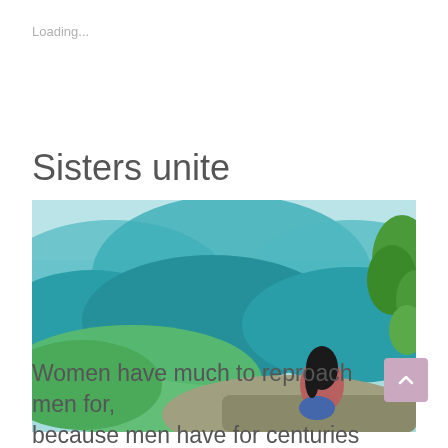Loading...
Sisters unite
[Figure (photo): A woman sitting on a large rock at a mountain viewpoint, with lush green-teal forested mountains in the background. She is wearing a pink/maroon shirt and blue jeans, with long dark hair, smiling at the camera. Trees with green leaves visible on the right side.]
Women have much to reproach men for, because men have for centuries used and